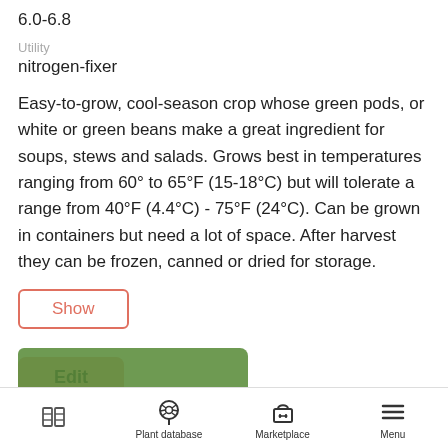6.0-6.8
Utility
nitrogen-fixer
Easy-to-grow, cool-season crop whose green pods, or white or green beans make a great ingredient for soups, stews and salads. Grows best in temperatures ranging from 60° to 65°F (15-18°C) but will tolerate a range from 40°F (4.4°C) - 75°F (24°C). Can be grown in containers but need a lot of space. After harvest they can be frozen, canned or dried for storage.
Show
Edit
Plant database   Marketplace   Menu